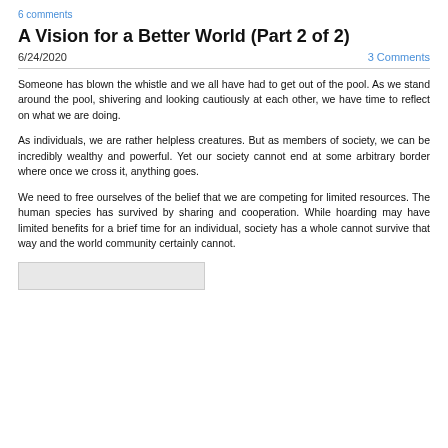6 comments
A Vision for a Better World (Part 2 of 2)
6/24/2020	3 Comments
Someone has blown the whistle and we all have had to get out of the pool.  As we stand around the pool, shivering and looking cautiously at each other, we have time to reflect on what we are doing.
As individuals, we are rather helpless creatures.  But as members of society, we can be incredibly wealthy and powerful.  Yet our society cannot end at some arbitrary border where once we cross it, anything goes.
We need to free ourselves of the belief that we are competing for limited resources.  The human species has survived by sharing and cooperation.  While hoarding may have limited benefits for a brief time for an individual, society has a whole cannot survive that way and the world community certainly cannot.
[Figure (other): Partial image or graphic at bottom of page, appears as a gray rectangle placeholder]